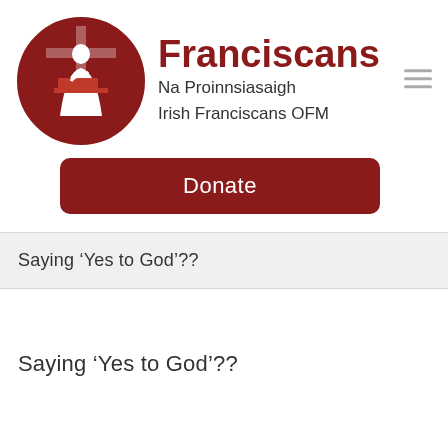[Figure (logo): Franciscan monk writing at a desk, inside a dark red circle, with a cross in the background — Irish Franciscans OFM logo]
Franciscans
Na Proinnsiasaigh
Irish Franciscans OFM
Donate
Saying ‘Yes to God’??
Saying ‘Yes to God’??